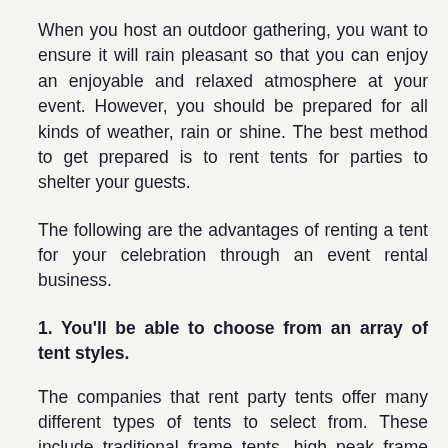When you host an outdoor gathering, you want to ensure it will rain pleasant so that you can enjoy an enjoyable and relaxed atmosphere at your event. However, you should be prepared for all kinds of weather, rain or shine. The best method to get prepared is to rent tents for parties to shelter your guests.
The following are the advantages of renting a tent for your celebration through an event rental business.
1. You'll be able to choose from an array of tent styles.
The companies that rent party tents offer many different types of tents to select from. These include traditional frame tents, high peak frame tents, and structure frame tents. They also have clearspan...